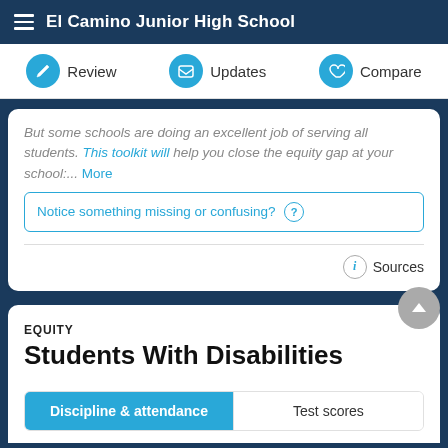El Camino Junior High School
Review | Updates | Compare
But some schools are doing an excellent job of serving all students. This toolkit will help you close the equity gap at your school:... More
Notice something missing or confusing? ?
Sources
EQUITY
Students With Disabilities
Discipline & attendance | Test scores